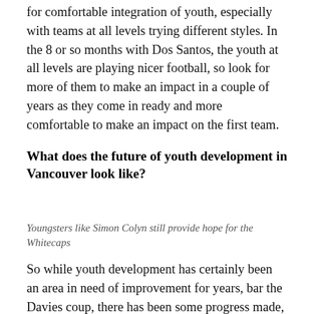for comfortable integration of youth, especially with teams at all levels trying different styles. In the 8 or so months with Dos Santos, the youth at all levels are playing nicer football, so look for more of them to make an impact in a couple of years as they come in ready and more comfortable to make an impact on the first team.
What does the future of youth development in Vancouver look like?
Youngsters like Simon Colyn still provide hope for the Whitecaps
So while youth development has certainly been an area in need of improvement for years, bar the Davies coup, there has been some progress made, and there is a good template for improvement. Bringing back Caps II, in either a partially owned model or something of that ilk,